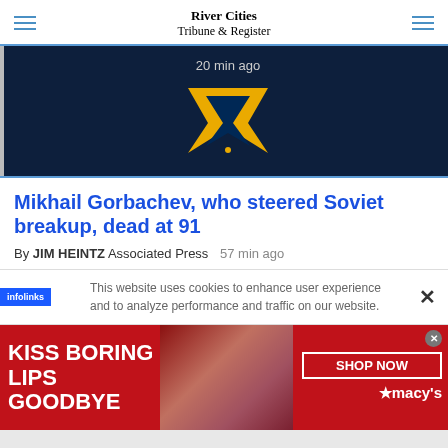River Cities Tribune & Register
[Figure (screenshot): Dark navy blue background with West Virginia University (WVU) gold chevron logo and timestamp '20 min ago' in white text]
Mikhail Gorbachev, who steered Soviet breakup, dead at 91
By JIM HEINTZ Associated Press  57 min ago
This website uses cookies to enhance user experience and to analyze performance and traffic on our website.
[Figure (photo): Red Macy's advertisement banner: 'KISS BORING LIPS GOODBYE' with model photo and 'SHOP NOW' button with Macy's star logo]